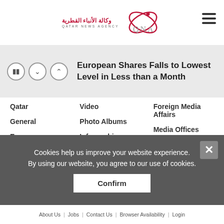[Figure (logo): Qatar News Agency (QNA) logo with Arabic text and orbit graphic]
European Shares Falls to Lowest Level in Less than a Month
Qatar
Video
Foreign Media Affairs
General
Photo Albums
Media Offices
Economy
Infographics
Training Programs
Sport
Qatar Vision 2030
Conferences and Exhibitions
Miscellaneous
Reports and Analysis
Media
NewsBulletins
Cookies help us improve your website experience. By using our website, you agree to our use of cookies.
About Us | Jobs | Contact Us | Browser Availability | Login